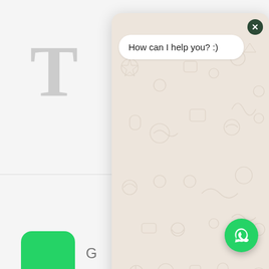[Figure (screenshot): WhatsApp chat widget overlay on a webpage showing a property listing. The overlay has a beige/tan background with decorative doodle pattern, a white chat bubble saying 'How can I help you? :)', a close button, and an input area with send button. Behind the overlay, partially visible webpage content shows: large grey 'T' letter, green rounded square avatar with 'G' initial, property code 'KW37A', Route label, Type: One, District: W..., Feature section header, Octopus in red. A green WhatsApp floating action button is visible at bottom right.]